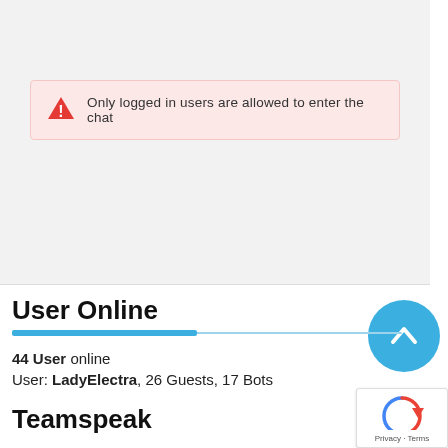Only logged in users are allowed to enter the chat
User Online
44 User online
User: LadyElectra, 26 Guests, 17 Bots
Teamspeak